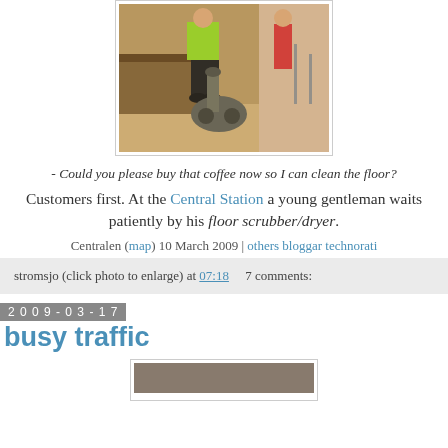[Figure (photo): A person in a bright green jacket operating a floor scrubber/dryer machine inside a train station or shopping area.]
- Could you please buy that coffee now so I can clean the floor?
Customers first. At the Central Station a young gentleman waits patiently by his floor scrubber/dryer.
Centralen (map) 10 March 2009 | others bloggar technorati
stromsjo (click photo to enlarge) at 07:18    7 comments:
busy traffic
2009-03-17
[Figure (photo): Partial view of next blog post image, partially cropped at bottom of page.]